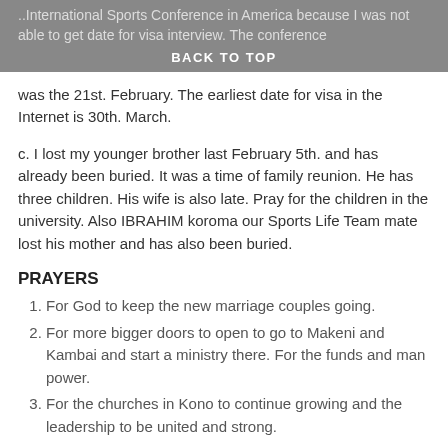..International Sports Conference in America because I was not able to get date for visa interview. The conference
BACK TO TOP
was the 21st. February. The earliest date for visa in the Internet is 30th. March.
c. I lost my younger brother last February 5th. and has already been buried. It was a time of family reunion. He has three children. His wife is also late. Pray for the children in the university. Also IBRAHIM koroma our Sports Life Team mate lost his mother and has also been buried.
PRAYERS
For God to keep the new marriage couples going.
For more bigger doors to open to go to Makeni and Kambai and start a ministry there. For the funds and man power.
For the churches in Kono to continue growing and the leadership to be united and strong.